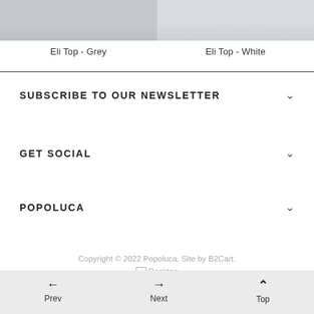[Figure (photo): Product image of Eli Top in grey, cropped at top]
Eli Top - Grey
[Figure (photo): Product image of Eli Top in white, cropped at top]
Eli Top - White
SUBSCRIBE TO OUR NEWSLETTER
GET SOCIAL
POPOLUCA
Copyright © 2022 Popoluca. Site by B2Cart.
🖥 Desktop
Prev   Next   Top